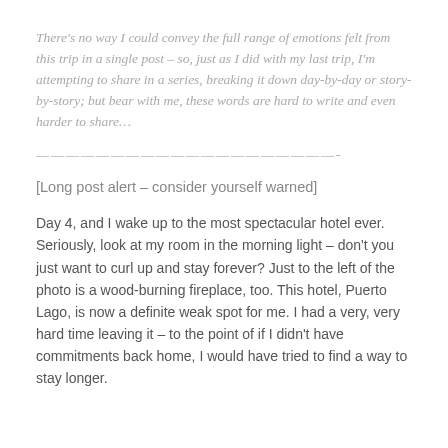There's no way I could convey the full range of emotions felt from this trip in a single post – so, just as I did with my last trip, I'm attempting to share in a series, breaking it down day-by-day or story-by-story; but bear with me, these words are hard to write and even harder to share…
————————————————————-
[Long post alert – consider yourself warned]
Day 4, and I wake up to the most spectacular hotel ever. Seriously, look at my room in the morning light – don't you just want to curl up and stay forever? Just to the left of the photo is a wood-burning fireplace, too. This hotel, Puerto Lago, is now a definite weak spot for me. I had a very, very hard time leaving it – to the point of if I didn't have commitments back home, I would have tried to find a way to stay longer.